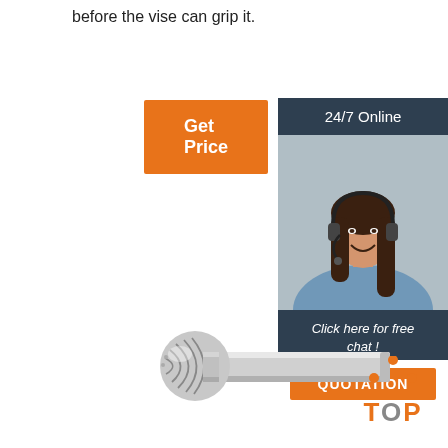before the vise can grip it.
[Figure (other): Orange 'Get Price' button]
[Figure (other): Customer service sidebar with '24/7 Online' header, photo of woman with headset, 'Click here for free chat!' text, and orange QUOTATION button]
[Figure (photo): Carbide rotary burr tool with ball-shaped cutting head and cylindrical shank]
[Figure (other): Orange 'TOP' navigation button with dot triangle above it]